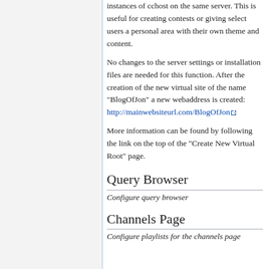instances of cchost on the same server. This is useful for creating contests or giving select users a personal area with their own theme and content.
No changes to the server settings or installation files are needed for this function. After the creation of the new virtual site of the name "BlogOfJon" a new webaddress is created: http://mainwebsiteurl.com/BlogOfJon
More information can be found by following the link on the top of the "Create New Virtual Root" page.
Query Browser
Configure query browser
Channels Page
Configure playlists for the channels page